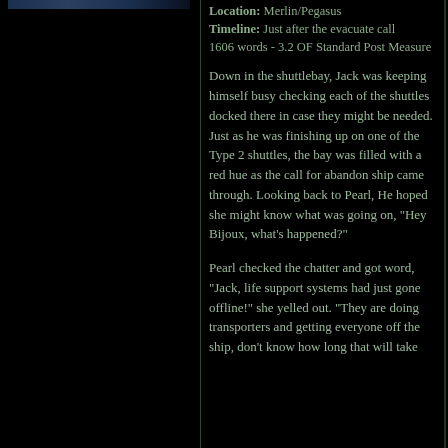[Figure (photo): Partial image at top of left column, appears to be a dark scene photo]
Location: Merlin/Pegasus
Timeline: Just after the evacuate call
1606 words - 3.2 OF Standard Post Measure
Down in the shuttlebay, Jack was keeping himself busy checking each of the shuttles docked there in case they might be needed. Just as he was finishing up on one of the Type 2 shuttles, the bay was filled with a red hue as the call for abandon ship came through. Looking back to Pearl, He hoped she might know what was going on, "Hey Bijoux, what's happened?"
Pearl checked the chatter and got word, "Jack, life support systems had just gone offline!" she yelled out. "They are doing transporters and getting everyone off the ship, don't know how long that will take